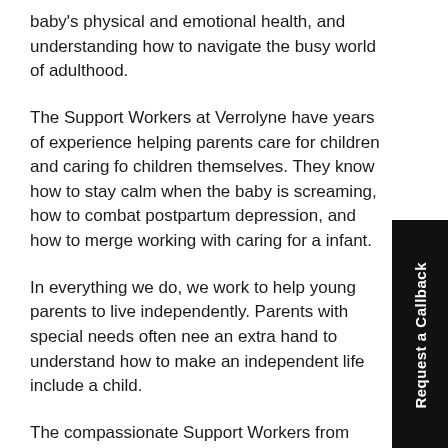baby's physical and emotional health, and understanding how to navigate the busy world of adulthood.
The Support Workers at Verrolyne have years of experience helping parents care for children and caring for children themselves. They know how to stay calm when the baby is screaming, how to combat postpartum depression, and how to merge working with caring for an infant.
In everything we do, we work to help young parents to live independently. Parents with special needs often need an extra hand to understand how to make an independent life include a child.
The compassionate Support Workers from Verrolyne Services are the perfect parents to provide support in our supported living services to young parents and their beautiful babies.